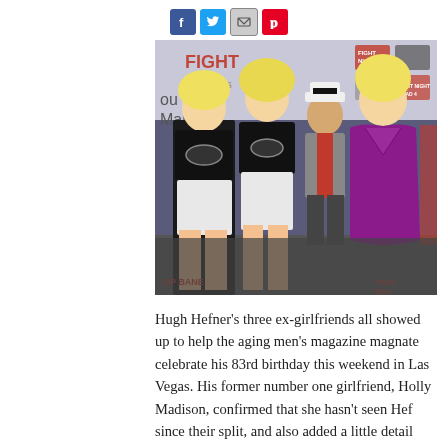[Figure (other): Social media share icons: Facebook (blue), Twitter (blue bird), Email (grey envelope), Pinterest (red P)]
[Figure (photo): Hugh Hefner wearing a white captain's hat and grey blazer with red shirt, posing with three blonde women at what appears to be a Fight Night event backdrop. Two women on the left wear black crop tops and white shorts, the woman on the right wears a purple/magenta dress.]
Hugh Hefner's three ex-girlfriends all showed up to help the aging men's magazine magnate celebrate his 83rd birthday this weekend in Las Vegas. His former number one girlfriend, Holly Madison, confirmed that she hasn't seen Hef since their split, and also added a little detail that made it seem like obligations to her reality show also